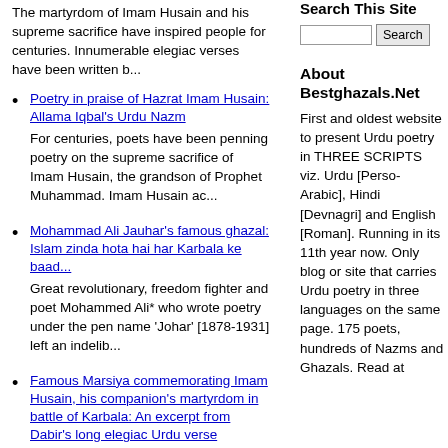The martyrdom of Imam Husain and his supreme sacrifice have inspired people for centuries. Innumerable elegiac verses have been written b...
Poetry in praise of Hazrat Imam Husain: Allama Iqbal's Urdu Nazm
For centuries, poets have been penning poetry on the supreme sacrifice of Imam Husain, the grandson of Prophet Muhammad. Imam Husain  ac...
Mohammad Ali Jauhar's famous ghazal: Islam zinda hota hai har Karbala ke baad...
Great revolutionary, freedom fighter and poet Mohammed Ali* who wrote poetry under the pen name 'Johar' [1878-1931] left an indelib...
Famous Marsiya commemorating Imam Husain, his companion's martyrdom in battle of Karbala: An excerpt from Dabir's long elegiac Urdu verse
The Marsiva is 'elegiac poetry'
Search This Site
About Bestghazals.Net
First and oldest website to present Urdu poetry in THREE SCRIPTS viz. Urdu [Perso-Arabic], Hindi [Devnagri] and English [Roman]. Running in its 11th year now. Only blog or site that carries Urdu poetry in three languages on the same page. 175 poets, hundreds of Nazms and Ghazals. Read at